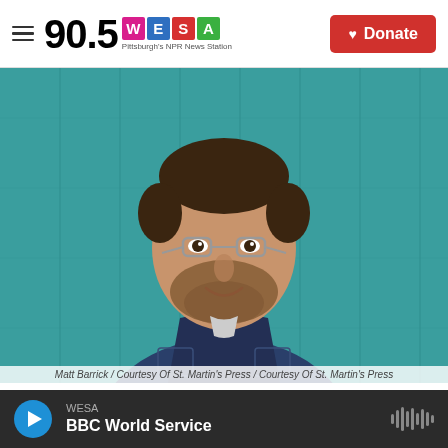90.5 WESA — Pittsburgh's NPR News Station | Donate
[Figure (photo): Portrait photo of a man with glasses and a beard wearing a dark blue shirt, standing in front of a teal/turquoise painted wooden wall background.]
Matt Barrick / Courtesy Of St. Martin's Press / Courtesy Of St. Martin's Press